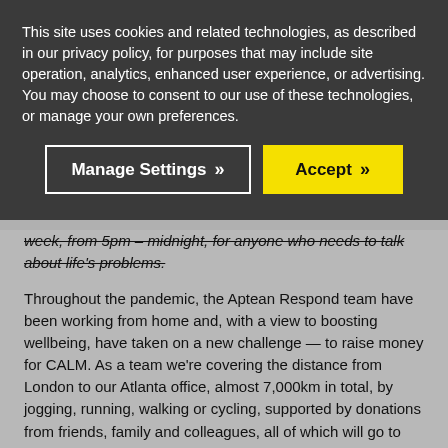This site uses cookies and related technologies, as described in our privacy policy, for purposes that may include site operation, analytics, enhanced user experience, or advertising. You may choose to consent to our use of these technologies, or manage your own preferences.
Manage Settings  >>   Accept  >>
week, from 5pm – midnight, for anyone who needs to talk about life's problems.
Throughout the pandemic, the Aptean Respond team have been working from home and, with a view to boosting wellbeing, have taken on a new challenge — to raise money for CALM. As a team we're covering the distance from London to our Atlanta office, almost 7,000km in total, by jogging, running, walking or cycling, supported by donations from friends, family and colleagues, all of which will go to CALM.
For more information about our Respond to Vulnerability challenge watch our video: